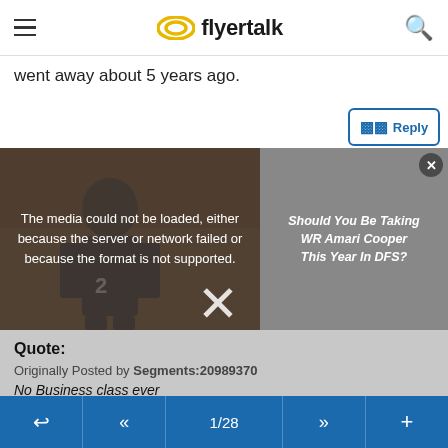flyertalk
went away about 5 years ago.
[Figure (screenshot): Video error overlay on a background showing a football player wearing jersey #2, with text: The media could not be loaded, either because the server or network failed or because the format is not supported. An ad panel on the right shows: Should You Be Taking WR Amari Cooper This Year In DFS? A large X close button overlays the bottom.]
Quote:
Originally Posted by Segments:20989370
No Business class ever
+1
We also have dollar limits based on duration of flight (layover time not included) which is completely